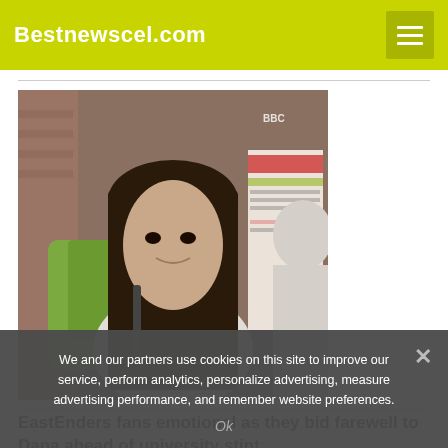Bestnewscel.com
[Figure (photo): Young woman with long dark hair wearing a backpack, standing outdoors near a bus stop information board, looking toward someone off-screen to the right. TV show still from EastEnders.]
EastEnders fans emotional as they bid farewell to Dana ahead of university stint
We and our partners use cookies on this site to improve our service, perform analytics, personalize advertising, measure advertising performance, and remember website preferences.
Ok